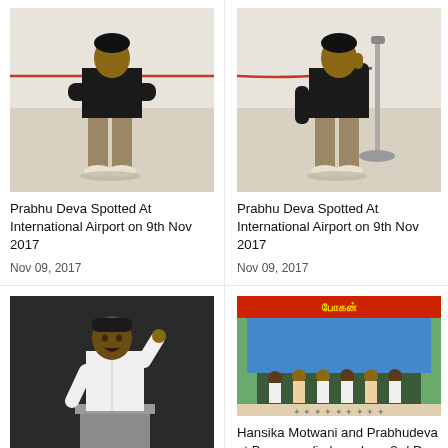[Figure (photo): Prabhu Deva standing at airport with arms crossed, wearing black top and khaki pants]
Prabhu Deva Spotted At International Airport on 9th Nov 2017
Nov 09, 2017
[Figure (photo): Prabhu Deva standing at airport with thumbs up, wearing black top and khaki pants]
Prabhu Deva Spotted At International Airport on 9th Nov 2017
Nov 09, 2017
[Figure (photo): Prabhu Deva speaking at a podium wearing a white shirt]
[Figure (photo): Hansika Motwani and Prabhudeva at Bogan audio launch event on stage with others seated]
Hansika Motwani and Prabhudeva at Bogan audio launch on 3rd Dec 2016